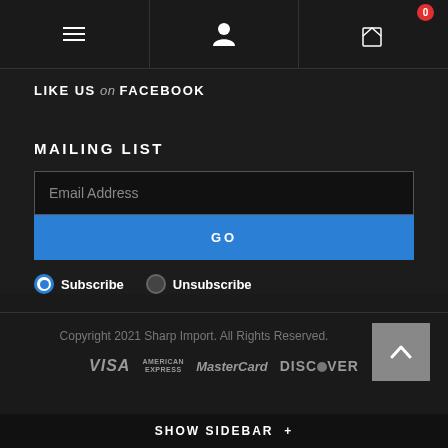Navigation bar with hamburger menu, user icon, and cart (0 items)
LIKE US on FACEBOOK
MAILING LIST
Email Address (input field)
GO (button)
Subscribe  Unsubscribe
Copyright 2021 Sharp Import. All Rights Reserved.
VISA  AMERICAN EXPRESS  MasterCard  DISCOVER
SHOW SIDEBAR +